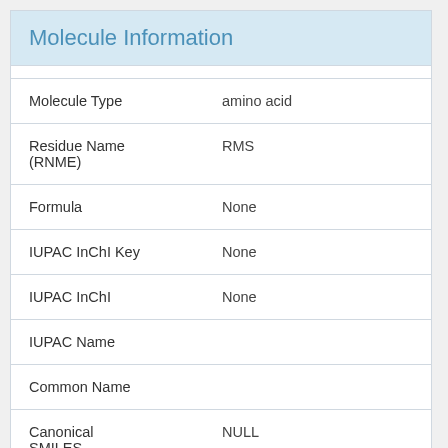Molecule Information
| Field | Value |
| --- | --- |
| Molecule Type | amino acid |
| Residue Name (RNME) | RMS |
| Formula | None |
| IUPAC InChI Key | None |
| IUPAC InChI | None |
| IUPAC Name |  |
| Common Name |  |
| Canonical SMILES (Daylight) | NULL |